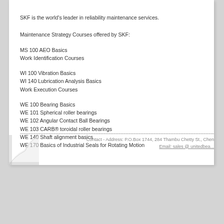SKF is the world's leader in reliability maintenance services.
Maintenance Strategy Courses offered by SKF:
MS 100 AEO Basics
Work Identification Courses
WI 100 Vibration Basics
WI 140 Lubrication Analysis Basics
Work Execution Courses
WE 100 Bearing Basics
WE 101 Spherical roller bearings
WE 102 Angular Contact Ball Bearings
WE 103 CARB® toroidal roller bearings
WE 140 Shaft alignment basics
WE 170 Basics of Industrial Seals for Rotating Motion
Contact - Address: P.O.Box 1744, 284 Thambu Chetty St., Chen... Email: sales @ unitedbea...